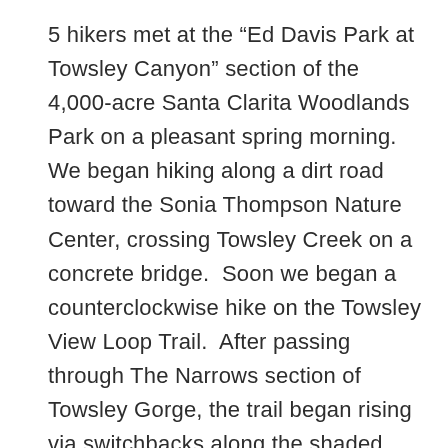5 hikers met at the “Ed Davis Park at Towsley Canyon” section of the 4,000-acre Santa Clarita Woodlands Park on a pleasant spring morning. We began hiking along a dirt road toward the Sonia Thompson Nature Center, crossing Towsley Creek on a concrete bridge.  Soon we began a counterclockwise hike on the Towsley View Loop Trail.  After passing through The Narrows section of Towsley Gorge, the trail began rising via switchbacks along the shaded eastern slope of the canyon.  The verdant north-facing slopes of the Santa Susana Mountains rose steeply to the south.  The single-track trail passed through sage scrub, stands of California walnut and bay laurel trees, and scattered oak trees as we made our way to the 2,450’ high